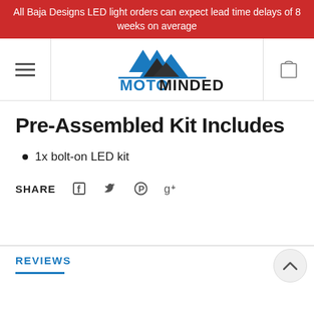All Baja Designs LED light orders can expect lead time delays of 8 weeks on average
[Figure (logo): MotoMinded logo with mountain peaks graphic above the text MOTOMINDED in blue and black]
Pre-Assembled Kit Includes
1x bolt-on LED kit
SHARE
REVIEWS